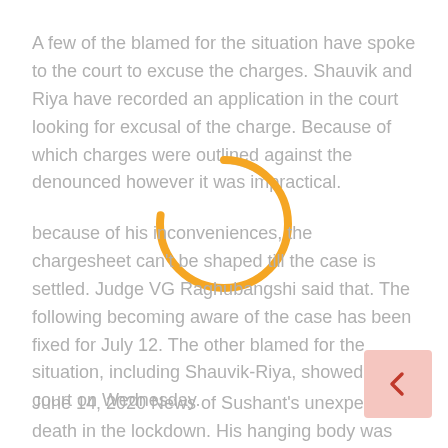A few of the blamed for the situation have spoke to the court to excuse the charges. Shauvik and Riya have recorded an application in the court looking for excusal of the charge. Because of which charges were outlined against the denounced however it was impractical.
[Figure (other): Circular loading spinner in orange and light gray]
because of his inconveniences, the chargesheet can't be shaped till the case is settled. Judge VG Raghubangshi said that. The following becoming aware of the case has been fixed for July 12. The other blamed for the situation, including Shauvik-Riya, showed up in court on Wednesday.
June 14, 2020 News of Sushant's unexpected death in the lockdown. His hanging body was recuperated from his level in Bandra. Sushant's family stopped a protest with the police for the sake of his better half.